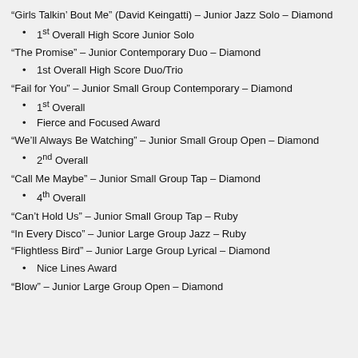“Girls Talkin’ Bout Me” (David Keingatti) – Junior Jazz Solo – Diamond
1st Overall High Score Junior Solo
“The Promise” – Junior Contemporary Duo – Diamond
1st Overall High Score Duo/Trio
“Fail for You” – Junior Small Group Contemporary – Diamond
1st Overall
Fierce and Focused Award
“We’ll Always Be Watching” – Junior Small Group Open – Diamond
2nd Overall
“Call Me Maybe” – Junior Small Group Tap – Diamond
4th Overall
“Can’t Hold Us” – Junior Small Group Tap – Ruby
“In Every Disco” – Junior Large Group Jazz – Ruby
“Flightless Bird” – Junior Large Group Lyrical – Diamond
Nice Lines Award
“Blow” – Junior Large Group Open – Diamond